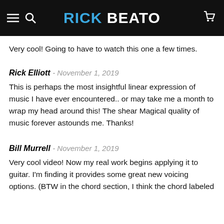RICK BEATO
Very cool! Going to have to watch this one a few times.
Rick Elliott - November 1, 2019
This is perhaps the most insightful linear expression of music I have ever encountered.. or may take me a month to wrap my head around this! The shear Magical quality of music forever astounds me. Thanks!
Bill Murrell - November 1, 2019
Very cool video! Now my real work begins applying it to guitar. I'm finding it provides some great new voicing options. (BTW in the chord section, I think the chord labeled